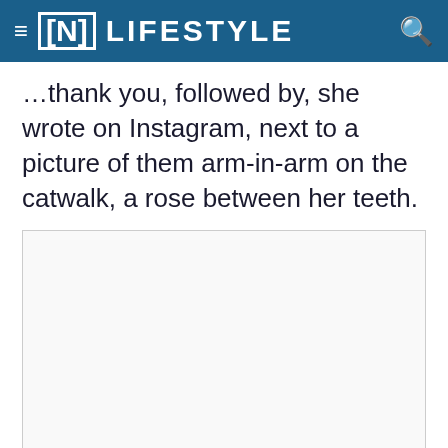≡ [N] LIFESTYLE
…thank you, followed by, she wrote on Instagram, next to a picture of them arm-in-arm on the catwalk, a rose between her teeth.
[Figure (photo): Large image placeholder (white/light gray box) representing an embedded photo in the article]